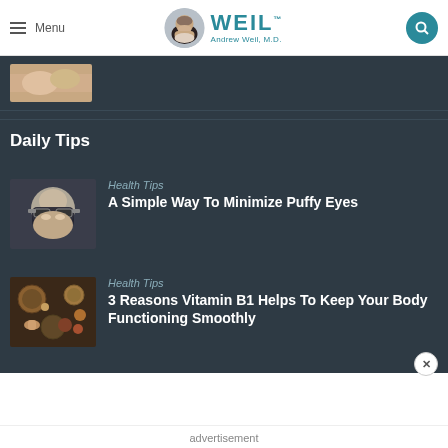Menu | WEIL Andrew Weil, M.D.
[Figure (screenshot): Partial image of hands/skin massage, cropped at top]
Daily Tips
[Figure (photo): Woman holding glasses to her face, puffy eyes article thumbnail]
Health Tips
A Simple Way To Minimize Puffy Eyes
[Figure (photo): Spices and herbs in bowls, Vitamin B1 article thumbnail]
Health Tips
3 Reasons Vitamin B1 Helps To Keep Your Body Functioning Smoothly
advertisement